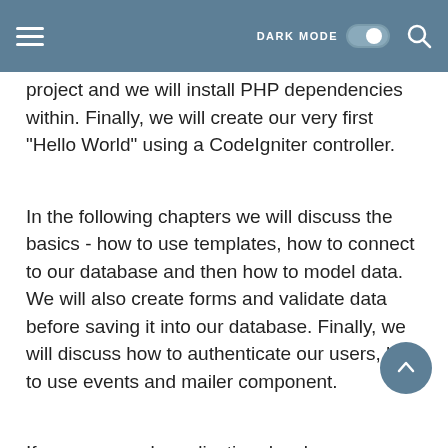DARK MODE
project and we will install PHP dependencies within. Finally, we will create our very first "Hello World" using a CodeIgniter controller.
In the following chapters we will discuss the basics - how to use templates, how to connect to our database and then how to model data. We will also create forms and validate data before saving it into our database. Finally, we will discuss how to authenticate our users, how to use events and mailer component.
If you are a web application developer or would like to become one with the help of CodeIgniter and PHP and